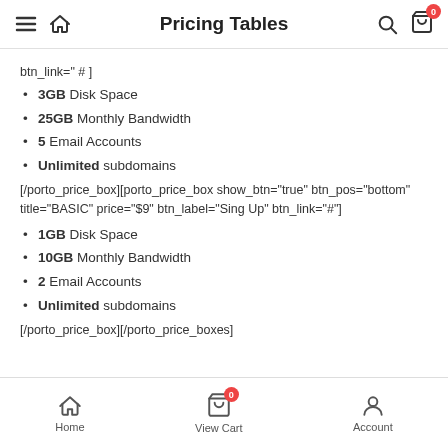Pricing Tables
btn_link="#"]
3GB Disk Space
25GB Monthly Bandwidth
5 Email Accounts
Unlimited subdomains
[/porto_price_box][porto_price_box show_btn="true" btn_pos="bottom" title="BASIC" price="$9" btn_label="Sing Up" btn_link="#"]
1GB Disk Space
10GB Monthly Bandwidth
2 Email Accounts
Unlimited subdomains
[/porto_price_box][/porto_price_boxes]
Home | View Cart | Account